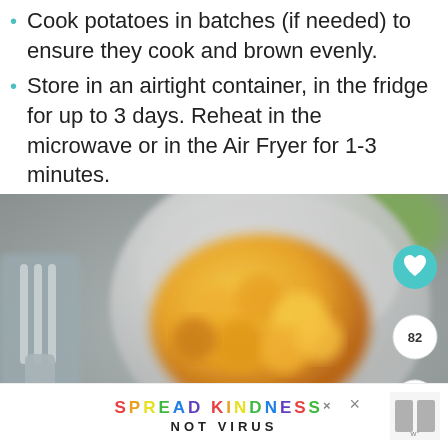Cook potatoes in batches (if needed) to ensure they cook and brown evenly.
Store in an airtight container, in the fridge for up to 3 days. Reheat in the microwave or in the Air Fryer for 1-3 minutes.
[Figure (photo): Close-up photo of roasted golden potato pieces in a gray bowl with a fork in the foreground, blurred background with green herb]
SPREAD KINDNESS NOT VIRUS